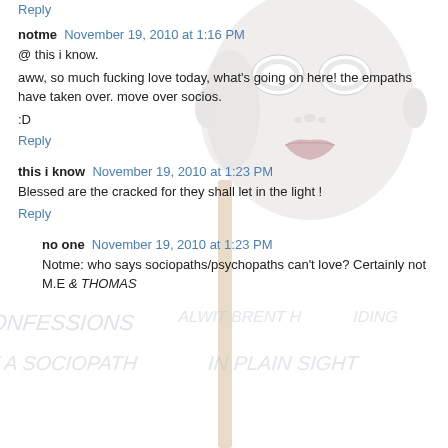[Figure (illustration): Background composite: white theater/masquerade mask on a stick held up, overlaid with faded handwritten text reading 'CONFESSIONS OF A SOCIOPATH IN PLAIN SIGHT' and 'ALWIT BRENT HIDING'. The mask is white with pink lips, positioned center-right of the page.]
Reply
notme  November 19, 2010 at 1:16 PM
@ this i know.
aww, so much fucking love today, what's going on here! the empaths have taken over. move over socios.
:D
Reply
this i know  November 19, 2010 at 1:23 PM
Blessed are the cracked for they shall let in the light !
Reply
no one  November 19, 2010 at 1:23 PM
Notme: who says sociopaths/psychopaths can't love? Certainly not M.E. & THOMAS